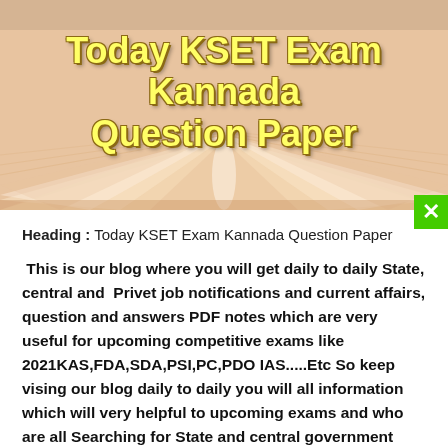[Figure (photo): Open book with pages fanned out, warm beige/orange tones, used as hero banner background]
Today KSET Exam Kannada Question Paper
Heading :  Today KSET Exam Kannada Question Paper
This is our blog where you will get daily to daily State, central and  Privet job notifications and current affairs, question and answers PDF notes which are very useful for upcoming competitive exams like 2021KAS,FDA,SDA,PSI,PC,PDO IAS.....Etc So keep vising our blog daily to daily you will all information which will very helpful to upcoming exams and who are all Searching for State and central government